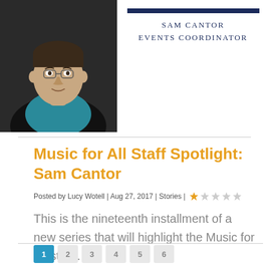[Figure (photo): Portrait photo of Sam Cantor, a man in a teal/blue shirt and black blazer, against a dark background]
SAM CANTOR
EVENTS COORDINATOR
Music for All Staff Spotlight: Sam Cantor
Posted by Lucy Wotell | Aug 27, 2017 | Stories | ★☆☆☆☆
This is the nineteenth installment of a new series that will highlight the Music for All staff…
READ MORE
pagination row